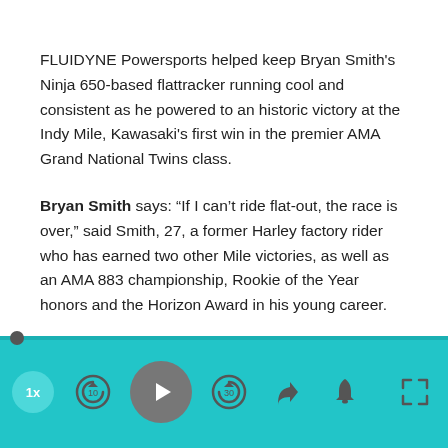FLUIDYNE Powersports helped keep Bryan Smith's Ninja 650-based flattracker running cool and consistent as he powered to an historic victory at the Indy Mile, Kawasaki's first win in the premier AMA Grand National Twins class.
Bryan Smith says: “If I can’t ride flat-out, the race is over,” said Smith, 27, a former Harley factory rider who has earned two other Mile victories, as well as an AMA 883 championship, Rookie of the Year honors and the Horizon Award in his young career.
[Figure (screenshot): Audio/podcast player bar with teal background, showing speed button (1x), rewind 10s, play button, skip 30s, share, notification bell, and fullscreen expand button.]